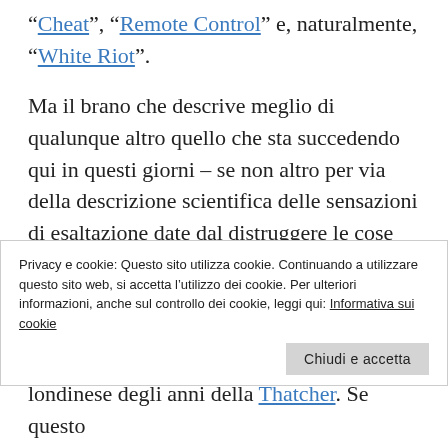“Cheat”, “Remote Control” e, naturalmente, “White Riot”.
Ma il brano che descrive meglio di qualunque altro quello che sta succedendo qui in questi giorni – se non altro per via della descrizione scientifica delle sensazioni di esaltazione date dal distruggere le cose degli altri –  viene dai massimi Dead Kennedys e s’intitola, lapidariamente, “Riot”. Fa sembrare i Clash un gruppo quasi romantico, tanto ruvido, crudo e
Privacy e cookie: Questo sito utilizza cookie. Continuando a utilizzare questo sito web, si accetta l’utilizzo dei cookie. Per ulteriori informazioni, anche sul controllo dei cookie, leggi qui: Informativa sui cookie
londinese degli anni della Thatcher. Se questo